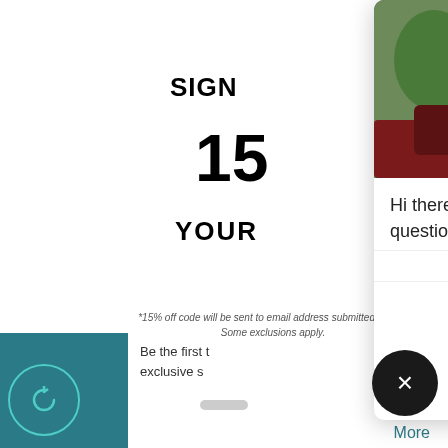[Figure (screenshot): Website signup modal overlay partially visible on left, showing 'SIGN', '15', 'YOUR', 'Be the first to... exclusive s...', email input field, and a submit button. Background has site navigation with hamburger icon and cart icon. Chat widget popup on right side shows a photo of a man in a car, chat message 'Hi there, let me know if you have any questions :)', 'Powered by gorgias', 'Click to reply'. Bottom shows footnote text about 15% off code, scroll indicator, 'More' link, close button, and teal bottom-left branding area.]
Hi there, let me know if you have any questions :)
Powered by gorgias
Click to reply
*15% off code will be sent to email address submitted above. Some exclusions apply.
More